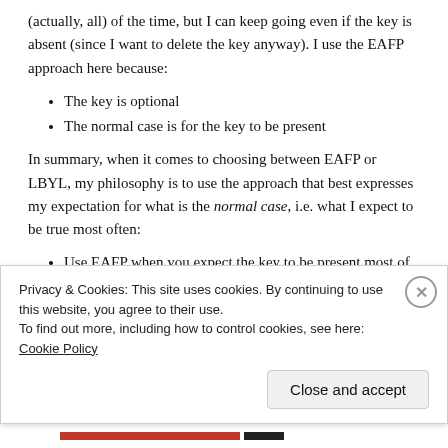(actually, all) of the time, but I can keep going even if the key is absent (since I want to delete the key anyway). I use the EAFP approach here because:
The key is optional
The normal case is for the key to be present
In summary, when it comes to choosing between EAFP or LBYL, my philosophy is to use the approach that best expresses my expectation for what is the normal case, i.e. what I expect to be true most often:
Use EAFP when you expect the key to be present most of the time
Privacy & Cookies: This site uses cookies. By continuing to use this website, you agree to their use.
To find out more, including how to control cookies, see here: Cookie Policy